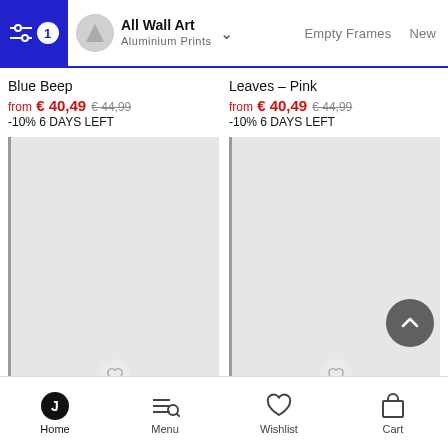All Wall Art / Aluminium Prints — filter active (1) — Empty Frames — New
Blue Beep
from € 40,49 € 44,99
-10% 6 DAYS LEFT
Leaves - Pink
from € 40,49 € 44,99
-10% 6 DAYS LEFT
[Figure (screenshot): Placeholder product image for Blue Beep wall art print (grey rectangle)]
[Figure (screenshot): Placeholder product image for Leaves - Pink wall art print (grey rectangle)]
Home   Menu   Wishlist   Cart